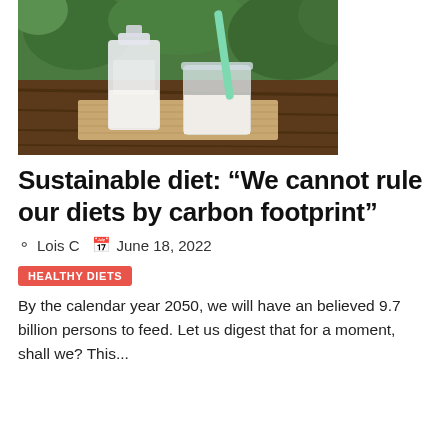[Figure (photo): A glass milk bottle and a glass jar with a green straw filled with milk, sitting on a wooden table with burlap fabric, green foliage in background.]
Sustainable diet: “We cannot rule our diets by carbon footprint”
Lois C   June 18, 2022
HEALTHY DIETS
By the calendar year 2050, we will have an believed 9.7 billion persons to feed. Let us digest that for a moment, shall we? This...